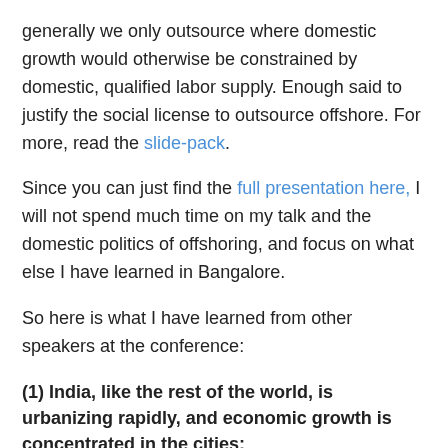generally we only outsource where domestic growth would otherwise be constrained by domestic, qualified labor supply. Enough said to justify the social license to outsource offshore. For more, read the slide-pack.
Since you can just find the full presentation here, I will not spend much time on my talk and the domestic politics of offshoring, and focus on what else I have learned in Bangalore.
So here is what I have learned from other speakers at the conference:
(1) India, like the rest of the world, is urbanizing rapidly, and economic growth is concentrated in the cities:
60% of India's population growth will originate from